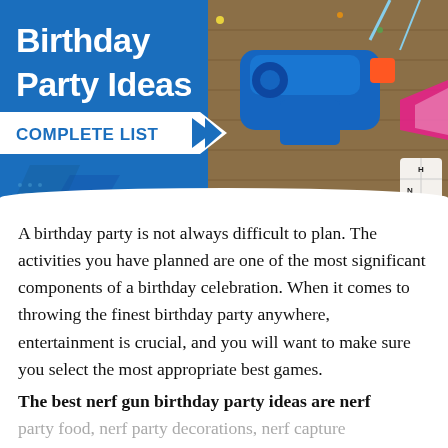[Figure (infographic): Birthday Party Ideas banner with 'COMPLETE LIST' tag, blue background with photo of a blue Nerf gun and party decorations on a wooden surface]
A birthday party is not always difficult to plan. The activities you have planned are one of the most significant components of a birthday celebration. When it comes to throwing the finest birthday party anywhere, entertainment is crucial, and you will want to make sure you select the most appropriate best games.
The best nerf gun birthday party ideas are nerf party food, nerf party decorations, nerf capture